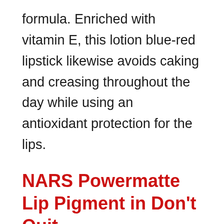formula. Enriched with vitamin E, this lotion blue-red lipstick likewise avoids caking and creasing throughout the day while using an antioxidant protection for the lips.
NARS Powermatte Lip Pigment in Don't Quit
A geranium-inspired red, NARS' Powermatte Lip Pigment in Don't Stop combines the brand name's innovative